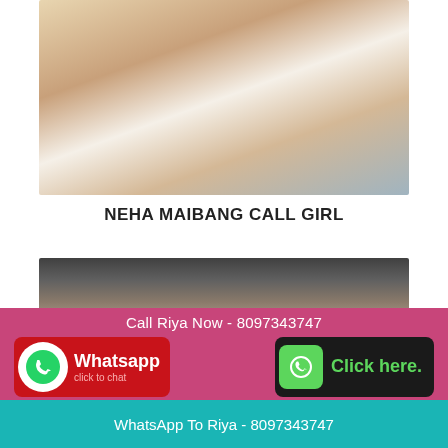[Figure (photo): Photo of a young woman with blonde hair wearing a white ribbed crop top, taking a mirror selfie in a bedroom]
NEHA MAIBANG CALL GIRL
[Figure (photo): Partial photo of a person with dark hair seen from above, with room/mirror background]
Call Riya Now - 8097343747
[Figure (logo): WhatsApp button with red background and phone icon, text: Whatsapp click to chat]
[Figure (logo): Click here button with black background and green phone icon]
WhatsApp To Riya - 8097343747